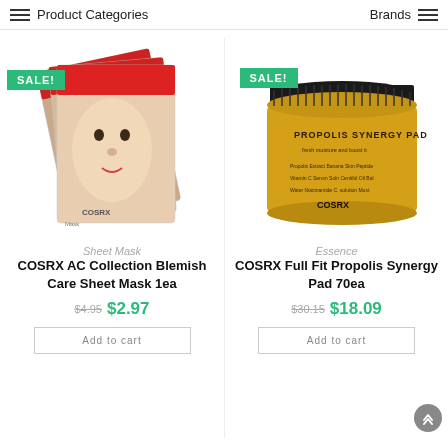Product Categories   Brands
[Figure (photo): COSRX AC Collection Blemish Care Sheet Masks fanned out showing face mask packaging with red design, with a green SALE! badge]
[Figure (photo): COSRX Full Fit Propolis Synergy Pad 70ea yellow container with black lid, with a green SALE! badge]
Sheet Mask
COSRX AC Collection Blemish Care Sheet Mask 1ea
$4.95 $2.97
Add to cart
Essence
COSRX Full Fit Propolis Synergy Pad 70ea
$30.15 $18.09
Add to cart